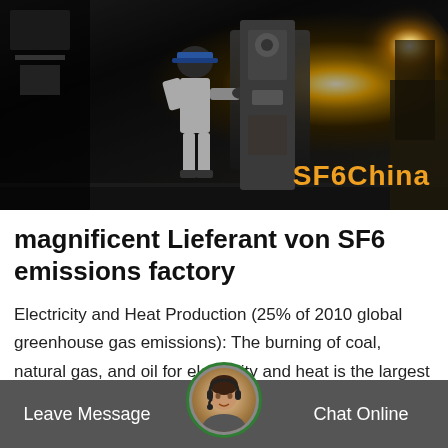[Figure (photo): Dark industrial photo showing a worker in hard hat near heavy machinery at night, with bright light flare. Watermark 'SF6China' in orange text at bottom right.]
magnificent Lieferant von SF6 emissions factory
Electricity and Heat Production (25% of 2010 global greenhouse gas emissions): The burning of coal, natural gas, and oil for electricity and heat is the largest single source of global greenhouse gas emissions.; Industry (21% of 2010 global greenhouse gas.
Leave Message   Chat Online